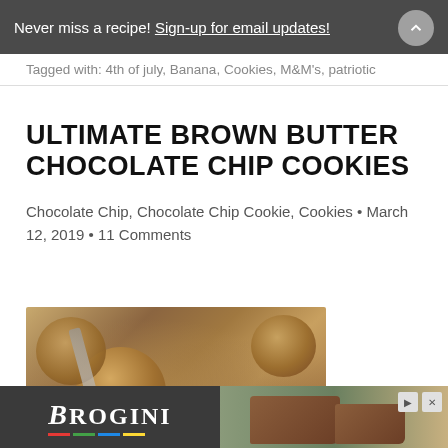Never miss a recipe! Sign-up for email updates!
Tagged with: 4th of july, Banana, Cookies, M&M's, patriotic
ULTIMATE BROWN BUTTER CHOCOLATE CHIP COOKIES
Chocolate Chip, Chocolate Chip Cookie, Cookies • March 12, 2019 • 11 Comments
[Figure (photo): Close-up photo of brown butter chocolate chip cookies on a metal spatula]
[Figure (other): Advertisement banner for Brogini brand with shoe image]